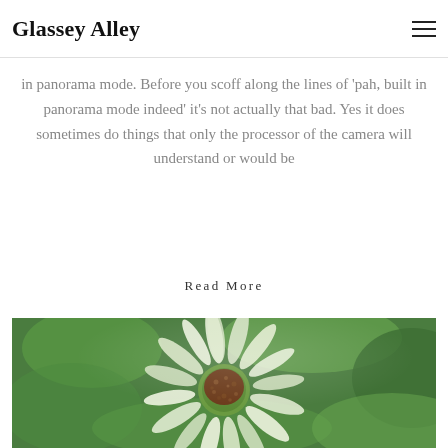Glassey Alley
in panorama mode. Before you scoff along the lines of 'pah, built in panorama mode indeed' it's not actually that bad. Yes it does sometimes do things that only the processor of the camera will understand or would be
Read More
[Figure (photo): Close-up macro photo of a coneflower (echinacea) with pale pink-white petals and a brown spiky center, against a blurred green background]